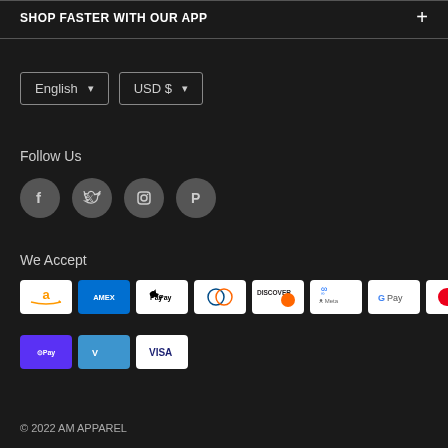SHOP FASTER WITH OUR APP
English (dropdown)
USD $ (dropdown)
Follow Us
[Figure (illustration): Social media icons: Facebook, Twitter, Instagram, Pinterest]
We Accept
[Figure (illustration): Payment method icons: Amazon, Amex, Apple Pay, Diners Club, Discover, Meta Pay, Google Pay, Mastercard, PayPal, Shop Pay, Venmo, Visa]
© 2022 AM APPAREL